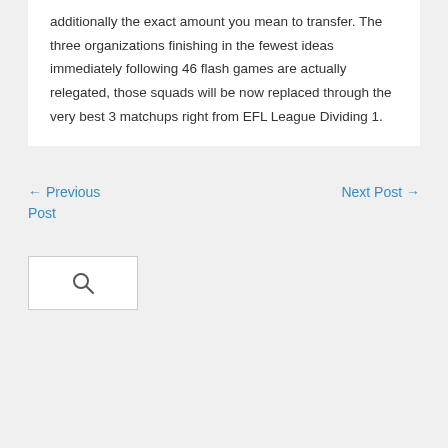additionally the exact amount you mean to transfer. The three organizations finishing in the fewest ideas immediately following 46 flash games are actually relegated, those squads will be now replaced through the very best 3 matchups right from EFL League Dividing 1.
← Previous Post
Next Post →
[Figure (other): Search box with magnifying glass icon]